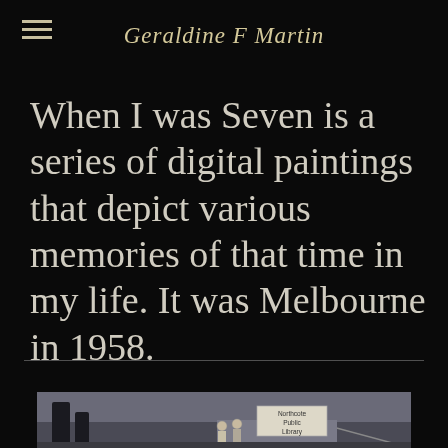Geraldine F Martin
When I was Seven is a series of digital paintings that depict various memories of that time in my life. It was Melbourne in 1958.
[Figure (illustration): A digital painting showing what appears to be a street scene with a 'Northcote Public Library' sign visible, rendered in a sketched/painted style with muted colors]